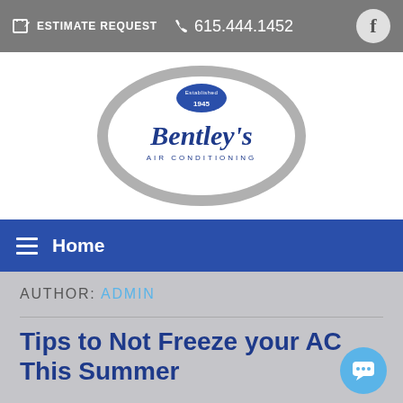ESTIMATE REQUEST   615.444.1452
[Figure (logo): Bentley's Air Conditioning logo with oval chrome emblem, 'Established 1945' text, blue script company name]
Home
AUTHOR: ADMIN
Tips to Not Freeze your AC This Summer